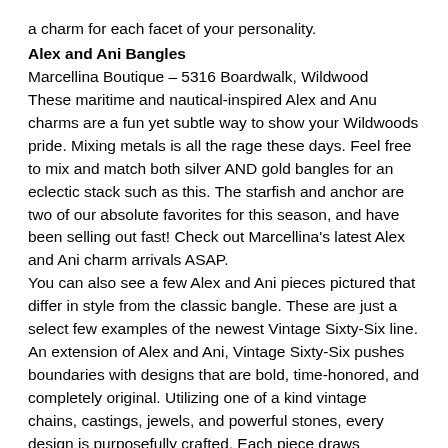a charm for each facet of your personality.
Alex and Ani Bangles
Marcellina Boutique – 5316 Boardwalk, Wildwood
These maritime and nautical-inspired Alex and Anu charms are a fun yet subtle way to show your Wildwoods pride. Mixing metals is all the rage these days. Feel free to mix and match both silver AND gold bangles for an eclectic stack such as this. The starfish and anchor are two of our absolute favorites for this season, and have been selling out fast! Check out Marcellina's latest Alex and Ani charm arrivals ASAP.
You can also see a few Alex and Ani pieces pictured that differ in style from the classic bangle. These are just a select few examples of the newest Vintage Sixty-Six line. An extension of Alex and Ani, Vintage Sixty-Six pushes boundaries with designs that are bold, time-honored, and completely original. Utilizing one of a kind vintage chains, castings, jewels, and powerful stones, every design is purposefully crafted. Each piece draws inspiration from the